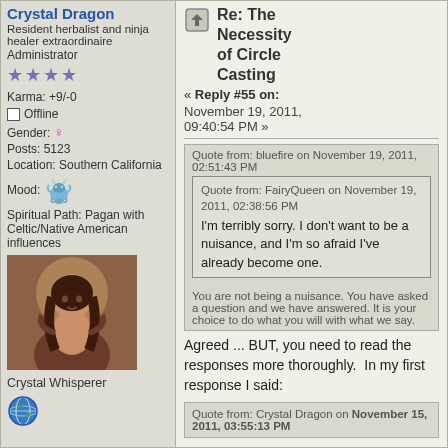Crystal Dragon
Resident herbalist and ninja healer extraordinaire
Administrator
★★★★
Karma: +9/-0
Offline
Gender: ♀
Posts: 5123
Location: Southern California
Mood:
Spiritual Path: Pagan with Celtic/Native American influences
[Figure (photo): User avatar: portrait painting of a woman with long dark hair]
Crystal Whisperer
[Figure (illustration): Globe icon]
Re: The Necessity of Circle Casting
« Reply #55 on: November 19, 2011, 09:40:54 PM »
Quote from: bluefire on November 19, 2011, 02:51:43 PM
Quote from: FairyQueen on November 19, 2011, 02:38:56 PM
I'm terribly sorry. I don't want to be a nuisance, and I'm so afraid I've already become one.
You are not being a nuisance. You have asked a question and we have answered. It is your choice to do what you will with what we say.
Agreed ... BUT, you need to read the responses more thoroughly.  In my first response I said:
Quote from: Crystal Dragon on November 15, 2011, 03:55:13 PM